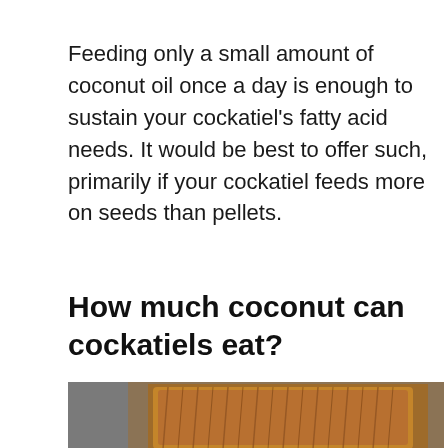Feeding only a small amount of coconut oil once a day is enough to sustain your cockatiel's fatty acid needs. It would be best to offer such, primarily if your cockatiel feeds more on seeds than pellets.
How much coconut can cockatiels eat?
[Figure (photo): A close-up photo of a coconut showing its fibrous brown outer husk, placed on a gray surface.]